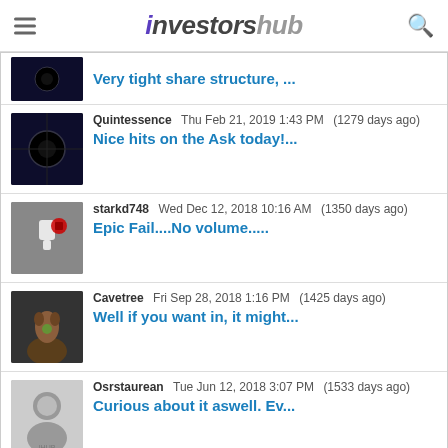investorshub
Very tight share structure, ...
Quintessence  Thu Feb 21, 2019 1:43 PM  (1279 days ago)
Nice hits on the Ask today!...
starkd748  Wed Dec 12, 2018 10:16 AM  (1350 days ago)
Epic Fail....No volume.....
Cavetree  Fri Sep 28, 2018 1:16 PM  (1425 days ago)
Well if you want in, it might...
Osrstaurean  Tue Jun 12, 2018 3:07 PM  (1533 days ago)
Curious about it aswell. Ev...
See More Posts on POYN Message Board
Do Your Culture Holdings (b...